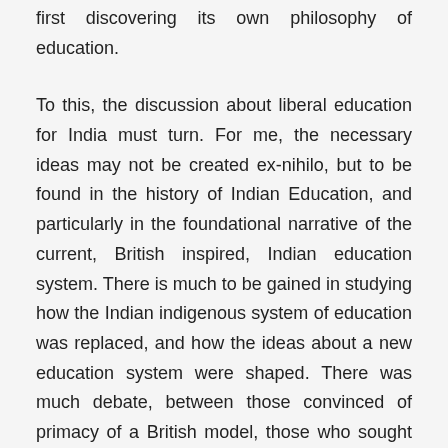first discovering its own philosophy of education.
To this, the discussion about liberal education for India must turn. For me, the necessary ideas may not be created ex-nihilo, but to be found in the history of Indian Education, and particularly in the foundational narrative of the current, British inspired, Indian education system. There is much to be gained in studying how the Indian indigenous system of education was replaced, and how the ideas about a new education system were shaped. There was much debate, between those convinced of primacy of a British model, those who sought to shape a system purely for vocational reasons and those who wanted to preserve the Indian tradition and heritage - and particularly, those in the middle, who argued for a 'liberal' model, one shaped by openness to ideas but grounded in the context of Indian history and culture. These were foundational debates, that explains why we have what we have, and my attention is therefore focused on the debates of the Nineteenth century (and, as a separate project, those of the